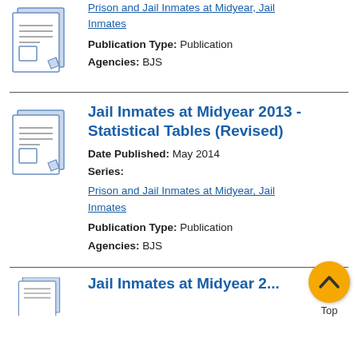[Figure (illustration): Document icon showing pages with lines and a small image placeholder]
Prison and Jail Inmates at Midyear, Jail Inmates
Publication Type: Publication
Agencies: BJS
[Figure (illustration): Document icon showing pages with lines and a small image placeholder]
Jail Inmates at Midyear 2013 - Statistical Tables (Revised)
Date Published: May 2014
Series:
Prison and Jail Inmates at Midyear, Jail Inmates
Publication Type: Publication
Agencies: BJS
[Figure (illustration): Document icon (partial, bottom of page)]
Jail Inmates at Midyear 2...